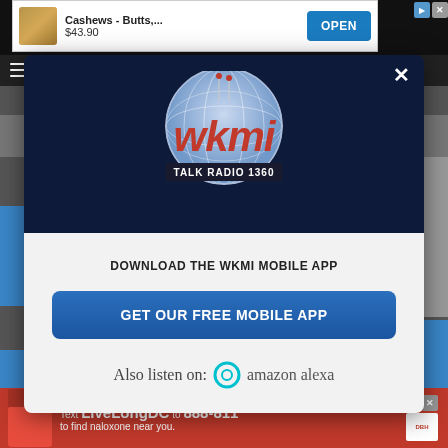[Figure (screenshot): Top advertisement banner showing cashews product with price $43.90 and OPEN button]
[Figure (logo): WKMI Talk Radio 1360 logo with globe graphic in navy blue modal header]
DOWNLOAD THE WKMI MOBILE APP
GET OUR FREE MOBILE APP
Also listen on:  amazon alexa
[Figure (screenshot): Bottom advertisement: Text LiveLongDC to 888-811 to find naloxone near you]